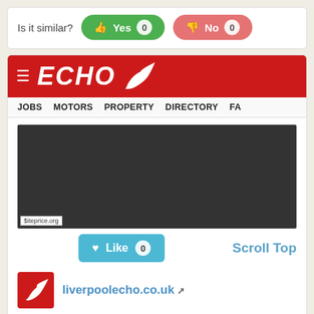Is it similar?
[Figure (screenshot): Liverpool Echo website screenshot showing red header with ECHO logo and navigation bar with JOBS, MOTORS, PROPERTY, DIRECTORY, FA links, and a dark content area below]
Scroll Top
liverpoolecho.co.uk
liverpool echo: latest liverpool and merseyside news, sports and what's on